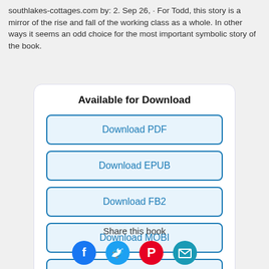southlakes-cottages.com by: 2. Sep 26, · For Todd, this story is a mirror of the rise and fall of the working class as a whole. In other ways it seems an odd choice for the most important symbolic story of the book.
Available for Download
Download PDF
Download EPUB
Download FB2
Download MOBI
Download TXT
Share this book
[Figure (infographic): Four social sharing icon circles: Facebook (blue), Twitter (teal), Pinterest (red), email/send (light blue)]